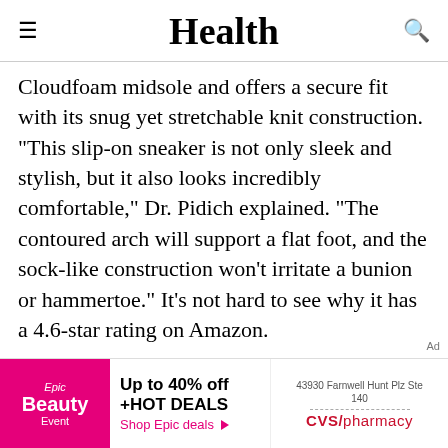Health
Cloudfoam midsole and offers a secure fit with its snug yet stretchable knit construction. "This slip-on sneaker is not only sleek and stylish, but it also looks incredibly comfortable," Dr. Pidich explained. "The contoured arch will support a flat foot, and the sock-like construction won't irritate a bunion or hammertoe." It's not hard to see why it has a 4.6-star rating on Amazon.
"I was on a time crunch to find shoes that would be good for our Disney World trip," explained one shopper. "I saw these and thought, 'Okay, no tying, easy to slip on, looks supportive.' I was
[Figure (other): Advertisement banner: Epic Beauty Event - Up to 40% off +HOT DEALS, CVS/pharmacy ad with address 43930 Farnwell Hunt Plz Ste 140]